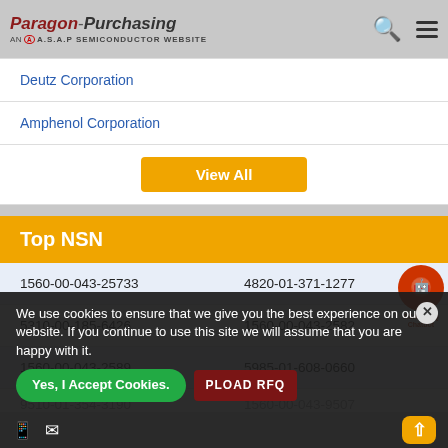Paragon Purchasing - AN A.S.A.P SEMICONDUCTOR WEBSITE
| Manufacturer |
| --- |
| Deutz Corporation |
| Amphenol Corporation |
View All
Top NSN
| NSN 1 | NSN 2 |
| --- | --- |
| 1560-00-043-25733 | 4820-01-371-1277 |
| 5310-00-185-6426 | 1560-00-043-2582 |
| 1560-00-043-2589 | 5985-01-608-0660 |
| ... | ... |
| 5998-01-546-8688 | 2590-01-466-9366 |
We use cookies to ensure that we give you the best experience on our website. If you continue to use this site we will assume that you are happy with it.
Yes, I Accept Cookies.